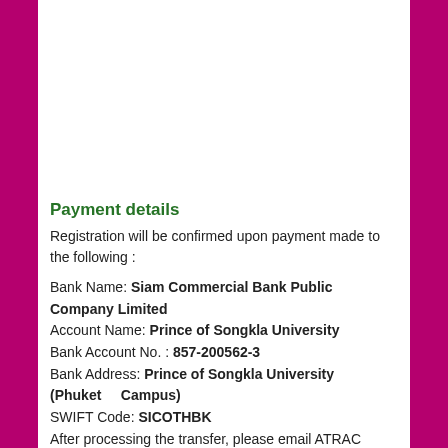Payment details
Registration will be confirmed upon payment made to the following :
Bank Name: Siam Commercial Bank Public Company Limited
Account Name: Prince of Songkla University
Bank Account No. : 857-200562-3
Bank Address: Prince of Songkla University (Phuket Campus)
SWIFT Code: SICOTHBK
After processing the transfer, please email ATRAC Secretariat the transaction details. Account details...